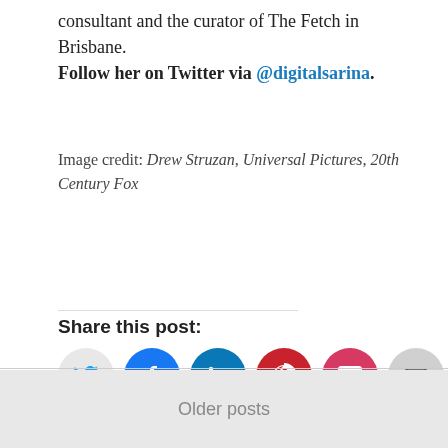consultant and the curator of The Fetch in Brisbane. Follow her on Twitter via @digitalsarina.
Image credit: Drew Struzan, Universal Pictures, 20th Century Fox
Share this post:
[Figure (infographic): Social sharing buttons: Twitter (grey), Facebook (blue), LinkedIn (dark blue), Pinterest (red), Pocket (pink-red), Email (grey)]
Loading...
Older posts